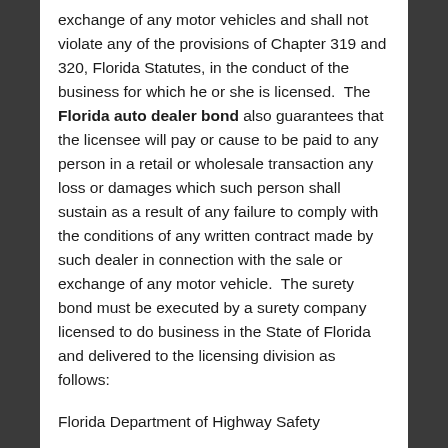exchange of any motor vehicles and shall not violate any of the provisions of Chapter 319 and 320, Florida Statutes, in the conduct of the business for which he or she is licensed.  The Florida auto dealer bond also guarantees that the licensee will pay or cause to be paid to any person in a retail or wholesale transaction any loss or damages which such person shall sustain as a result of any failure to comply with the conditions of any written contract made by such dealer in connection with the sale or exchange of any motor vehicle.  The surety bond must be executed by a surety company licensed to do business in the State of Florida and delivered to the licensing division as follows:
Florida Department of Highway Safety
Attn:  Motor vehicle dealer surety bonds